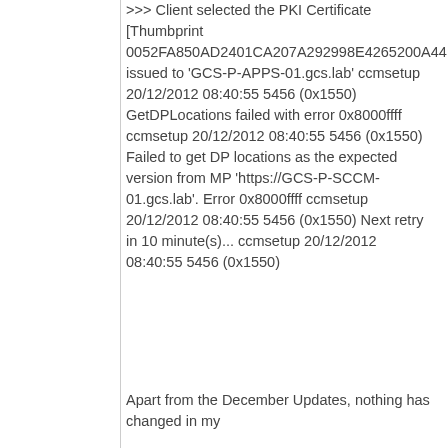>>> Client selected the PKI Certificate [Thumbprint 0052FA850AD2401CA207A292998E4265200A44FD] issued to 'GCS-P-APPS-01.gcs.lab' ccmsetup 20/12/2012 08:40:55 5456 (0x1550) GetDPLocations failed with error 0x8000ffff  ccmsetup 20/12/2012 08:40:55 5456 (0x1550) Failed to get DP locations as the expected version from MP 'https://GCS-P-SCCM-01.gcs.lab'. Error 0x8000ffff ccmsetup 20/12/2012 08:40:55 5456 (0x1550) Next retry in 10 minute(s)... ccmsetup 20/12/2012 08:40:55 5456 (0x1550)
Apart from the December Updates, nothing has changed in my